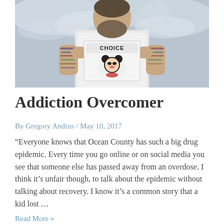[Figure (photo): A bearded man with tattoos on his arms holding up a sign that reads 'CHOICE' with a Mickey Mouse graphic. He is wearing a white t-shirt and standing against a cloudy sky background.]
Addiction Overcomer
By Gregory Andrus / May 10, 2017
“Everyone knows that Ocean County has such a big drug epidemic. Every time you go online or on social media you see that someone else has passed away from an overdose. I think it’s unfair though, to talk about the epidemic without talking about recovery. I know it’s a common story that a kid lost …
Read More »